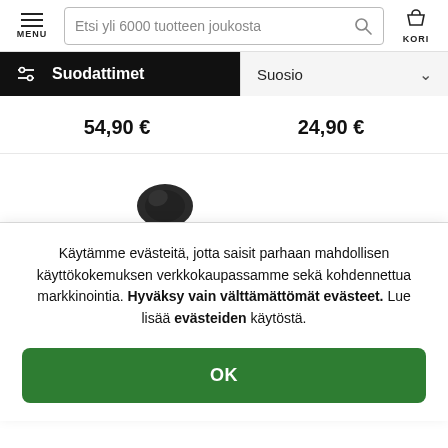MENU | Etsi yli 6000 tuotteen joukosta | KORI
Suodattimet
Suosio
54,90 €
24,90 €
Käytämme evästeitä, jotta saisit parhaan mahdollisen käyttökokemuksen verkkokaupassamme sekä kohdennettua markkinointia. Hyväksy vain välttämättömät evästeet. Lue lisää evästeiden käytöstä.
OK